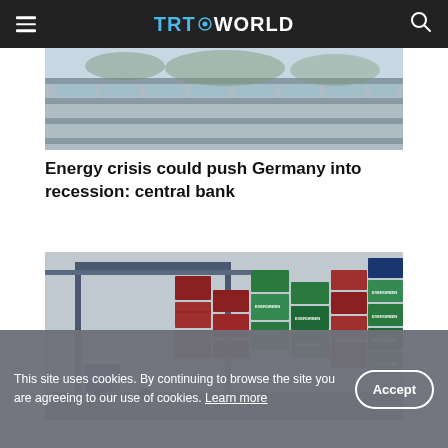TRT WORLD
[Figure (photo): Partial view of a building exterior, cropped at top — appears to be an industrial or office building facade with glass and concrete.]
Energy crisis could push Germany into recession: central bank
[Figure (photo): Shipping container yard with stacks of colorful red, green, and blue containers, and a semi-truck under a large gantry crane structure. An Evergreen container line logo is visible on several containers.]
This site uses cookies. By continuing to browse the site you are agreeing to our use of cookies. Learn more